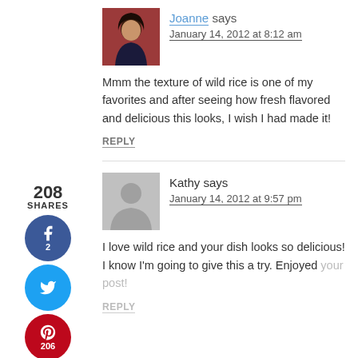[Figure (photo): Profile photo of Joanne - woman with dark hair]
Joanne says
January 14, 2012 at 8:12 am
Mmm the texture of wild rice is one of my favorites and after seeing how fresh flavored and delicious this looks, I wish I had made it!
REPLY
[Figure (infographic): Social share sidebar with 208 shares, Facebook (2), Twitter, Pinterest (206), Yummly buttons]
[Figure (illustration): Gray placeholder avatar silhouette for Kathy]
Kathy says
January 14, 2012 at 9:57 pm
I love wild rice and your dish looks so delicious! I know I'm going to give this a try. Enjoyed your post!
REPLY